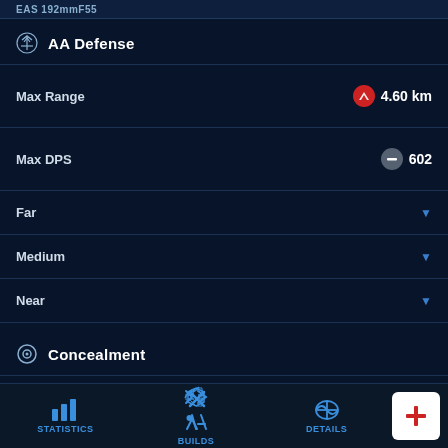EAS 192mmF55
AA Defense
Max Range — 4.60 km
Max DPS — 602
Far ▼
Medium ▼
Near ▼
Concealment
Sea Detectability — 16.30 km
Smoke Firing 16.26 km
STATISTICS | BUILDS | DETAILS | +